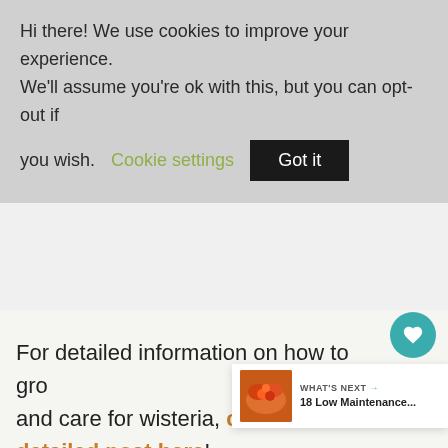Hi there! We use cookies to improve your experience. We'll assume you're ok with this, but you can opt-out if you wish. Cookie settings  Got it
For detailed information on how to grow and care for wisteria, check out our detailed post here!
[Figure (other): What's Next widget showing '18 Low Maintenance...' article with a thumbnail of orange/red flowers]